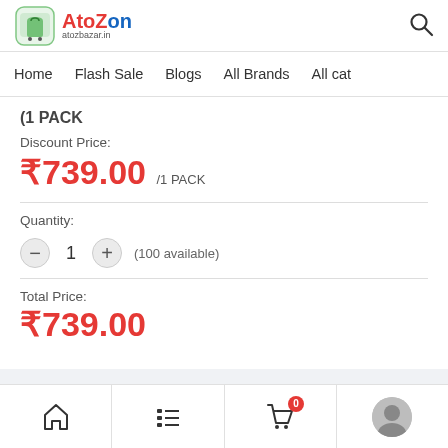AtoZon atozbazar.in
Home  Flash Sale  Blogs  All Brands  All cat
(1 PACK
Discount Price:
₹739.00 /1 PACK
Quantity:
— 1 + (100 available)
Total Price:
₹739.00